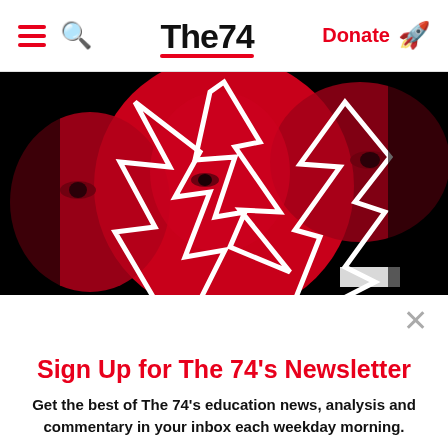The74 — navigation bar with menu, search, logo, Donate button
[Figure (photo): Red-tinted circular collage of faces with bold white geometric lightning-bolt shapes overlaid, on a black background. The74 publication header image.]
×
Sign Up for The 74's Newsletter
Get the best of The 74's education news, analysis and commentary in your inbox each weekday morning.
Subscribe